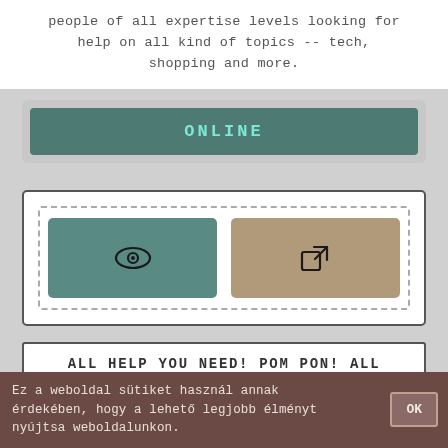people of all expertise levels looking for help on all kind of topics -- tech, shopping and more.
[Figure (screenshot): ONLINE button - teal/green colored button with cyan text]
[Figure (screenshot): Two icon buttons side by side inside a dashed border: a teal button with an eye icon, and a tan/khaki button with an external link icon]
ALL HELP YOU NEED! POM PON! ALL IN ONE PLACE!
https://www.helpwire.com/seek?...
Ez a weboldal sütiket használ annak érdekében, hogy a lehető legjobb élményt nyújtsa weboldalunkon.